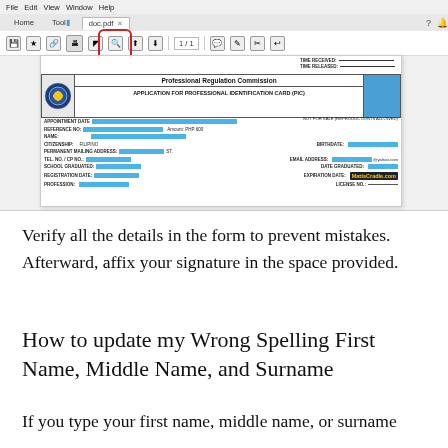[Figure (screenshot): Screenshot of Adobe Acrobat Reader with a PDF document open showing the Professional Regulation Commission Application for Professional Identification Card form. A red rounded rectangle highlights the print button in the toolbar, with a red arrow pointing down to the form.]
Verify all the details in the form to prevent mistakes. Afterward, affix your signature in the space provided.
How to update my Wrong Spelling First Name, Middle Name, and Surname
If you type your first name, middle name, or surname